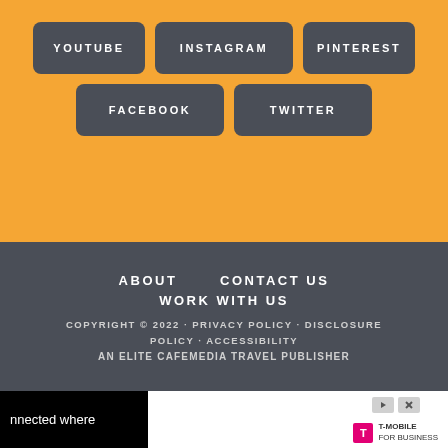YOUTUBE
INSTAGRAM
PINTEREST
FACEBOOK
TWITTER
ABOUT   CONTACT US   WORK WITH US
COPYRIGHT © 2022 · PRIVACY POLICY · DISCLOSURE POLICY · ACCESSIBILITY
AN ELITE CAFEMEDIA TRAVEL PUBLISHER
[Figure (screenshot): Advertisement banner showing T-Mobile for Business ad with dark left section containing text 'nnected where' and white right section with T-Mobile logo and play/close icons]